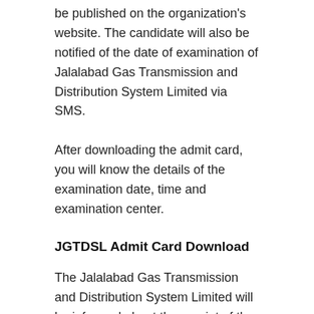be published on the organization's website. The candidate will also be notified of the date of examination of Jalalabad Gas Transmission and Distribution System Limited via SMS.
After downloading the admit card, you will know the details of the examination date, time and examination center.
JGTDSL Admit Card Download
The Jalalabad Gas Transmission and Distribution System Limited will be informed about the receipt of the admit card through the jgtdsl.teletalk.com.bd website. Or you will be notified via the JGTDSL office website jalalabadgas.org.bd. The candidate